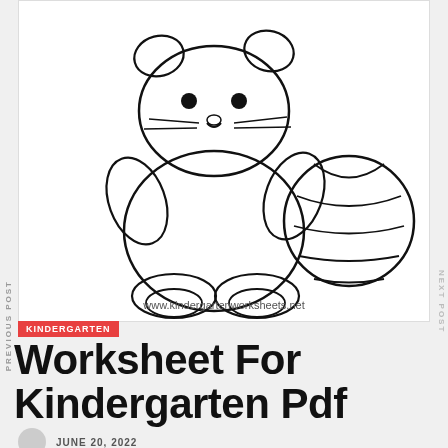[Figure (illustration): Line drawing coloring page of a cute cartoon cat/teddy bear holding a striped ball, with www.kindergartenworksheets.net watermark at bottom of image]
PREVIOUS POST
NEXT POST
KINDERGARTEN
Worksheet For Kindergarten Pdf
JUNE 20, 2022